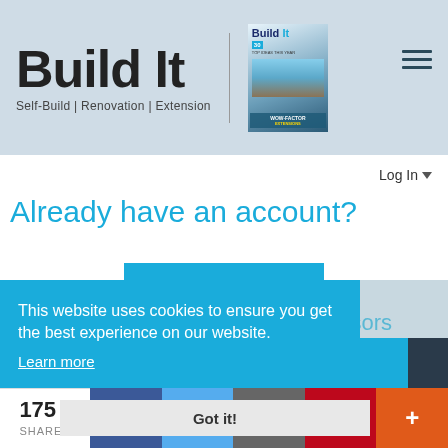[Figure (screenshot): Build It magazine logo with 'Build It' text in black and blue, subtitle 'Self-Build | Renovation | Extension', magazine cover thumbnail, and hamburger menu icon on a light blue-gray header background]
Log In ▾
Already have an account?
LOG IN
This website uses cookies to ensure you get the best experience on our website.
Learn more
Our sponsors
Got it!
175 SHARES